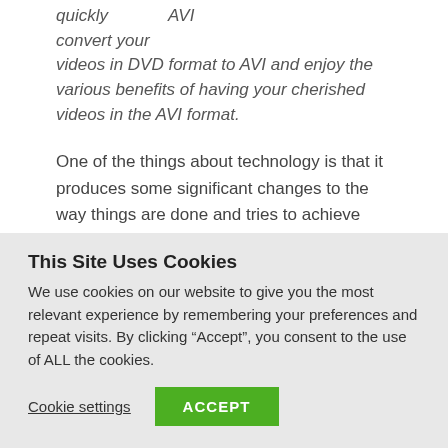quickly   AVI
convert your
videos in DVD format to AVI and enjoy the various benefits of having your cherished videos in the AVI format.
One of the things about technology is that it produces some significant changes to the way things are done and tries to achieve more sophistication while minimizing size and weight.
Your computer, most especially your laptop comes to mind when this is mentioned.
This Site Uses Cookies
We use cookies on our website to give you the most relevant experience by remembering your preferences and repeat visits. By clicking “Accept”, you consent to the use of ALL the cookies.
Cookie settings   ACCEPT